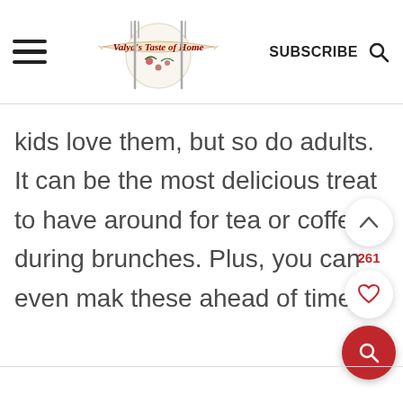Valya's Taste of Home | SUBSCRIBE
kids love them, but so do adults. It can be the most delicious treat to have around for tea or coffee during brunches. Plus, you can even make these ahead of time!